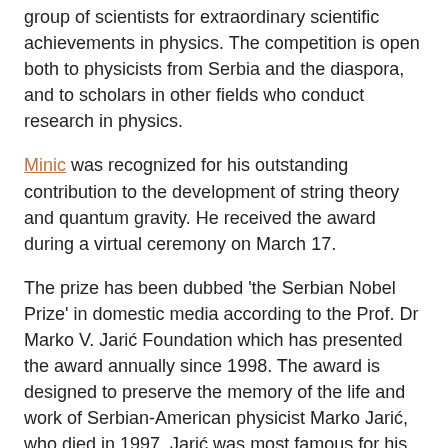group of scientists for extraordinary scientific achievements in physics. The competition is open both to physicists from Serbia and the diaspora, and to scholars in other fields who conduct research in physics.
Minic was recognized for his outstanding contribution to the development of string theory and quantum gravity. He received the award during a virtual ceremony on March 17.
The prize has been dubbed ‘the Serbian Nobel Prize’ in domestic media according to the Prof. Dr Marko V. Jarić Foundation which has presented the award annually since 1998. The award is designed to preserve the memory of the life and work of Serbian-American physicist Marko Jarić, who died in 1997. Jarić was most famous for his research on quasi-crystals, and authoring and editing four